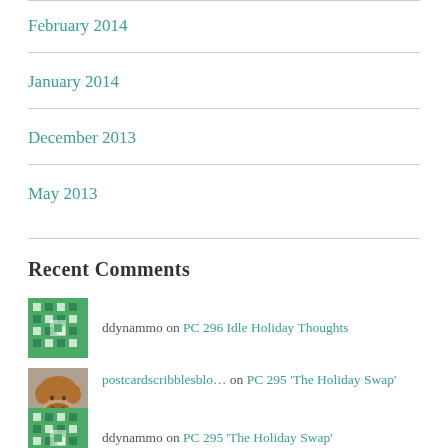February 2014
January 2014
December 2013
May 2013
Recent Comments
ddynammo on PC 296 Idle Holiday Thoughts
postscardscribblesblo… on PC 295 'The Holiday Swap'
ddynammo on PC 295 'The Holiday Swap'